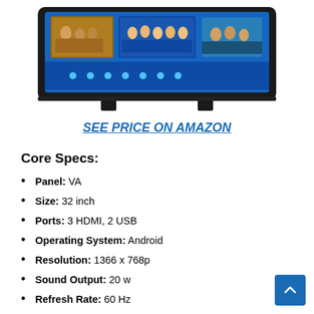[Figure (photo): A flat-screen TV with a blue interface showing streaming content thumbnails, mounted on two black stand legs, photographed against a white background.]
SEE PRICE ON AMAZON
Core Specs:
Panel: VA
Size: 32 inch
Ports: 3 HDMI, 2 USB
Operating System: Android
Resolution: 1366 x 768p
Sound Output: 20 w
Refresh Rate: 60 Hz
Display: LED Backlit Vivid Picture...